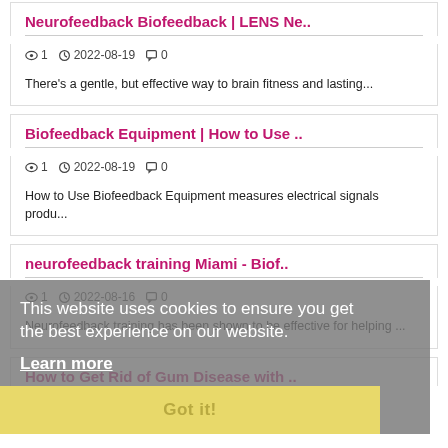Neurofeedback Biofeedback | LENS Ne..
1  2022-08-19  0
There's a gentle, but effective way to brain fitness and lasting...
Biofeedback Equipment | How to Use ..
1  2022-08-19  0
How to Use Biofeedback Equipment measures electrical signals produ...
neurofeedback training Miami - Biof..
1  2022-08-16  0
Neurofeedback training has been shown to be effective for helping ...
How to Get Rid of Gum Disease with ..
This website uses cookies to ensure you get the best experience on our website.
Learn more
Got it!